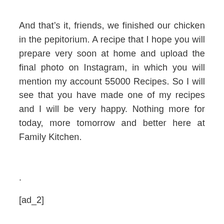And that’s it, friends, we finished our chicken in the pepitorium. A recipe that I hope you will prepare very soon at home and upload the final photo on Instagram, in which you will mention my account 55000 Recipes. So I will see that you have made one of my recipes and I will be very happy. Nothing more for today, more tomorrow and better here at Family Kitchen.
.
[ad_2]